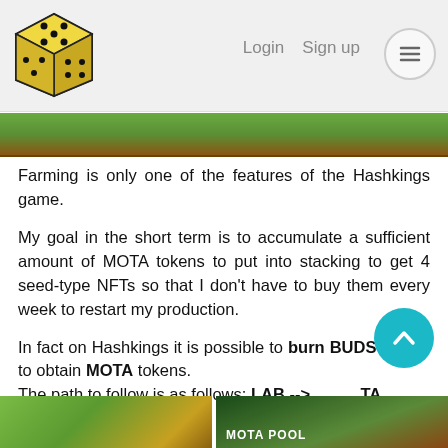Login  Sign up
[Figure (screenshot): Green farming image strip at top of content area]
Farming is only one of the features of the Hashkings game.
My goal in the short term is to accumulate a sufficient amount of MOTA tokens to put into stacking to get 4 seed-type NFTs so that I don't have to buy them every week to restart my production.
In fact on Hashkings it is possible to burn BUDS tokens to obtain MOTA tokens.
The path to follow is as follows: LAB --> MOTA POOL --> BURN BUDS.
[Figure (screenshot): Two thumbnail images at bottom: left shows farming scene, right shows MOTA POOL interface]